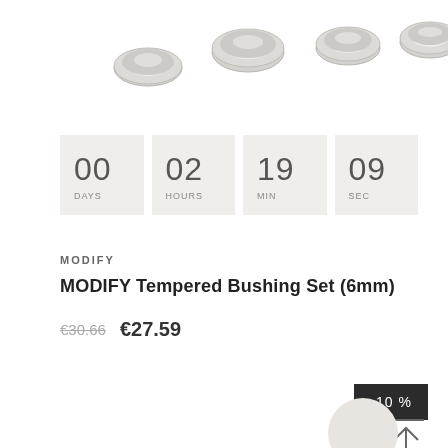[Figure (photo): Several small silver metallic bushing rings/spacers shown at the top of the page on white background]
00 DAYS
02 HOURS
19 MIN
09 SEC
MODIFY
MODIFY Tempered Bushing Set (6mm)
€30.66  €27.59
-10 %